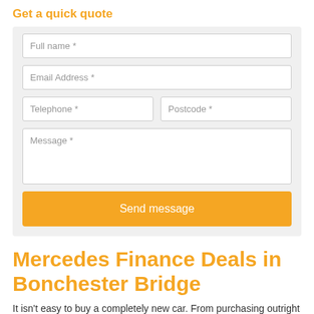Get a quick quote
[Figure (screenshot): Web form with fields: Full name *, Email Address *, Telephone *, Postcode *, Message *, and a Send message button]
Mercedes Finance Deals in Bonchester Bridge
It isn't easy to buy a completely new car. From purchasing outright